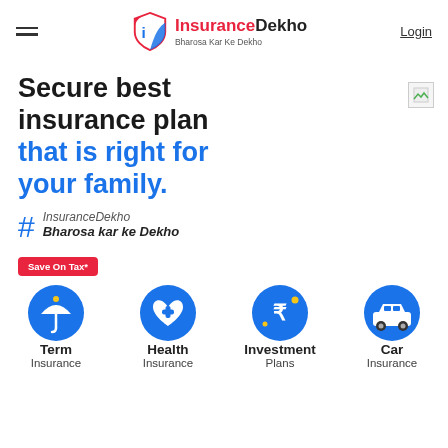[Figure (logo): InsuranceDekho logo with red and blue shield icon and text 'InsuranceDekho / Bharosa Kar Ke Dekho']
Login
Secure best insurance plan that is right for your family.
# InsuranceDekho
Bharosa kar ke Dekho
Save On Tax*
Term Insurance
Health Insurance
Investment Plans
Car Insurance